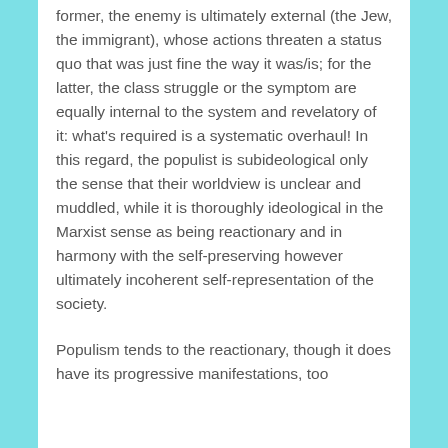former, the enemy is ultimately external (the Jew, the immigrant), whose actions threaten a status quo that was just fine the way it was/is; for the latter, the class struggle or the symptom are equally internal to the system and revelatory of it: what's required is a systematic overhaul! In this regard, the populist is subideological only the sense that their worldview is unclear and muddled, while it is thoroughly ideological in the Marxist sense as being reactionary and in harmony with the self-preserving however ultimately incoherent self-representation of the society.
Populism tends to the reactionary, though it does have its progressive manifestations, too